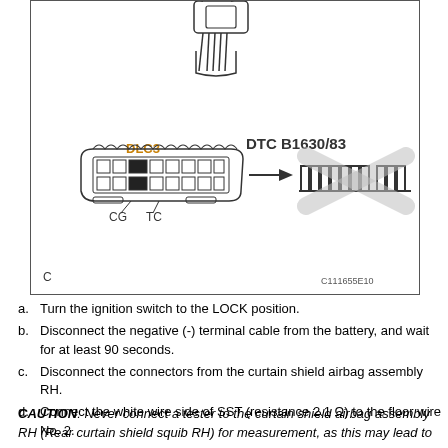[Figure (schematic): Automotive diagnostic diagram showing DLC3 connector with CG and TC terminals, an arrow pointing to a DTC B1630/83 pulse signal waveform with an X overlay indicating no connection / fault. Also shows a sensor connector at top with wiring. Reference code C111655E10. Label 'C' at bottom left.]
a. Turn the ignition switch to the LOCK position.
b.  Disconnect the negative (-) terminal cable from the battery, and wait for at least 90 seconds.
c.  Disconnect the connectors from the curtain shield airbag assembly RH.
d.  Connect the white wire side of SST (resistance 2.1 Ω) to the floor wire No. 2.
CAUTION: Never connect a tester to the curtain shield airbag assembly RH (Rear curtain shield squib RH) for measurement, as this may lead to